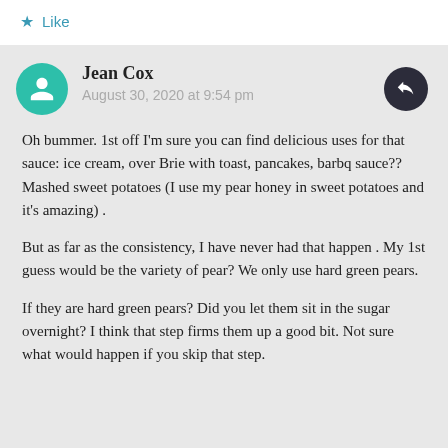Like
Jean Cox
August 30, 2020 at 9:54 pm
Oh bummer. 1st off I'm sure you can find delicious uses for that sauce: ice cream, over Brie with toast, pancakes, barbq sauce?? Mashed sweet potatoes (I use my pear honey in sweet potatoes and it's amazing) .
But as far as the consistency, I have never had that happen . My 1st guess would be the variety of pear? We only use hard green pears.
If they are hard green pears? Did you let them sit in the sugar overnight? I think that step firms them up a good bit. Not sure what would happen if you skip that step.